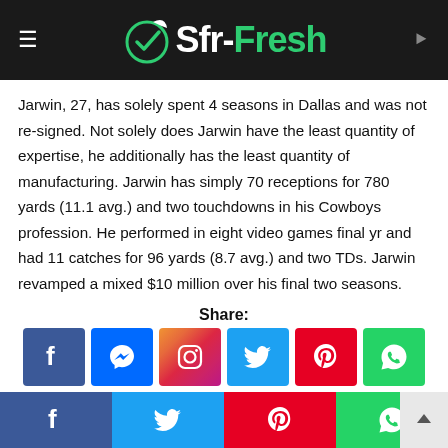Sfr-Fresh
Jarwin, 27, has solely spent 4 seasons in Dallas and was not re-signed. Not solely does Jarwin have the least quantity of expertise, he additionally has the least quantity of manufacturing. Jarwin has simply 70 receptions for 780 yards (11.1 avg.) and two touchdowns in his Cowboys profession. He performed in eight video games final yr and had 11 catches for 96 yards (8.7 avg.) and two TDs. Jarwin revamped a mixed $10 million over his final two seasons.
Share:
[Figure (infographic): Row of social media share buttons: Facebook, Messenger, Instagram, Twitter, Pinterest, WhatsApp]
Social share footer bar with Facebook, Twitter, Pinterest, WhatsApp icons and scroll-to-top button